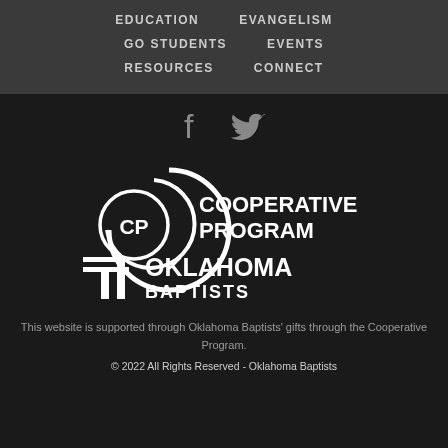EDUCATION   EVANGELISM   GO STUDENTS   EVENTS   RESOURCES   CONNECT
[Figure (logo): Facebook and Twitter social media icons in gray]
[Figure (logo): Cooperative Program and Oklahoma Baptists combined logo in white on dark background]
This website is supported through Oklahoma Baptists' gifts through the Cooperative Program.
© 2022 All Rights Reserved - Oklahoma Baptists